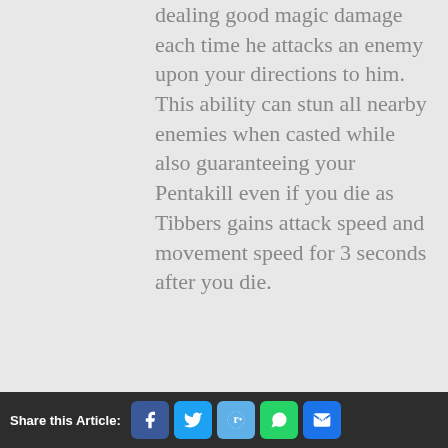dealing good magic damage each time he attacks an enemy upon your directions to him. This ability can stun all nearby enemies when casted while also guaranteeing your Pentakill even if you die as Tibbers gains attack speed and movement speed for 3 seconds after you die.
Share this Article: [Facebook] [Twitter] [Reddit] [WhatsApp] [Email]